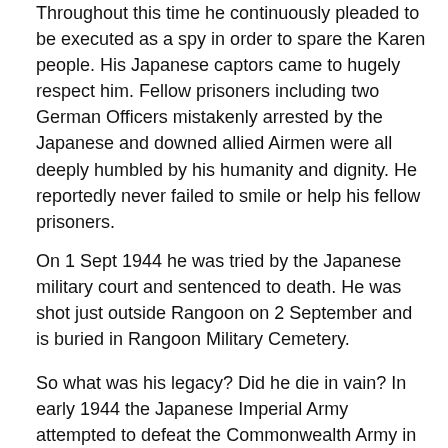Throughout this time he continuously pleaded to be executed as a spy in order to spare the Karen people. His Japanese captors came to hugely respect him. Fellow prisoners including two German Officers mistakenly arrested by the Japanese and downed allied Airmen were all deeply humbled by his humanity and dignity. He reportedly never failed to smile or help his fellow prisoners.
On 1 Sept 1944 he was tried by the Japanese military court and sentenced to death. He was shot just outside Rangoon on 2 September and is buried in Rangoon Military Cemetery.
So what was his legacy? Did he die in vain? In early 1944 the Japanese Imperial Army attempted to defeat the Commonwealth Army in India but after being defeated at Imphal and Kohima between March and July 1944, the Japanese advance was halted. Field Marshall Bill Slim and later the